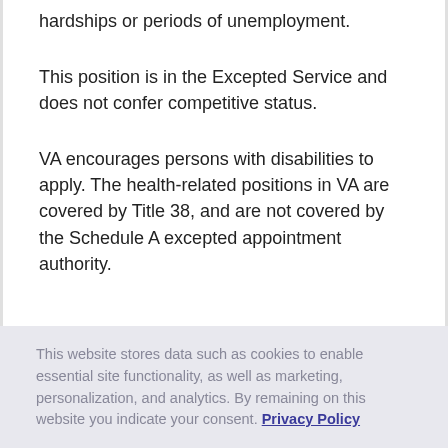hardships or periods of unemployment.
This position is in the Excepted Service and does not confer competitive status.
VA encourages persons with disabilities to apply. The health-related positions in VA are covered by Title 38, and are not covered by the Schedule A excepted appointment authority.
This website stores data such as cookies to enable essential site functionality, as well as marketing, personalization, and analytics. By remaining on this website you indicate your consent. Privacy Policy